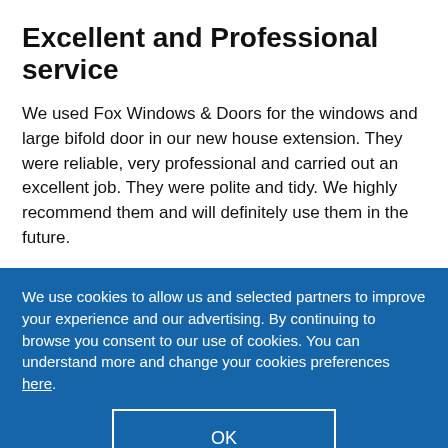Excellent and Professional service
We used Fox Windows & Doors for the windows and large bifold door in our new house extension. They were reliable, very professional and carried out an excellent job. They were polite and tidy. We highly recommend them and will definitely use them in the future.
We use cookies to allow us and selected partners to improve your experience and our advertising. By continuing to browse you consent to our use of cookies. You can understand more and change your cookies preferences here.
OK